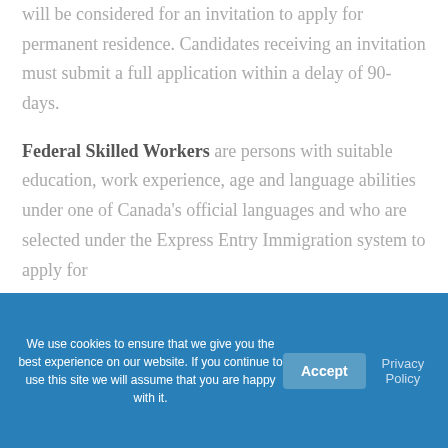will be considered for an invitation to apply for permanent residence. Candidates receiving an invitation must submit a full application within a delay of 90-days.
Federal Skilled Workers are persons with suitable education, work experience, age and language abilities under one of Canada's official languages and who are selected under the Express Entry Immigration system to apply for
We use cookies to ensure that we give you the best experience on our website. If you continue to use this site we will assume that you are happy with it.